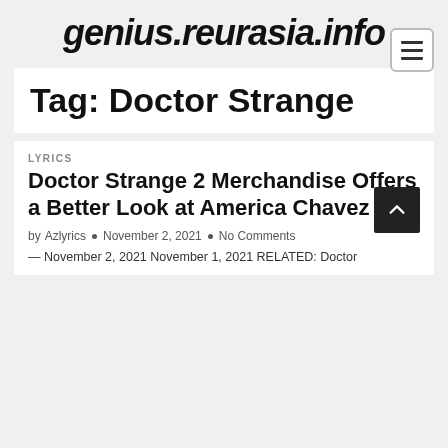genius.reurasia.info
Tag: Doctor Strange
LYRICS
Doctor Strange 2 Merchandise Offers a Better Look at America Chavez
by Azlyrics · November 2, 2021 · No Comments
— November 2, 2021 November 1, 2021 RELATED: Doctor